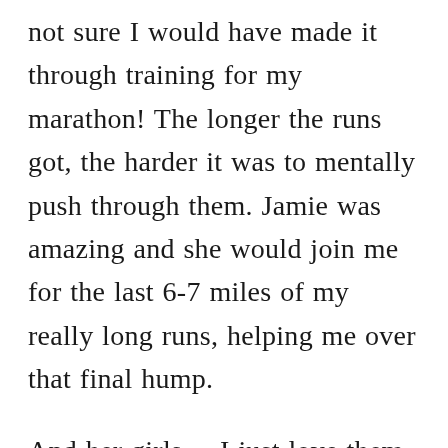not sure I would have made it through training for my marathon! The longer the runs got, the harder it was to mentally push through them. Jamie was amazing and she would join me for the last 6-7 miles of my really long runs, helping me over that final hump.
And her girls.... I just love them. While living in Washington, their soccer team needed a last minute